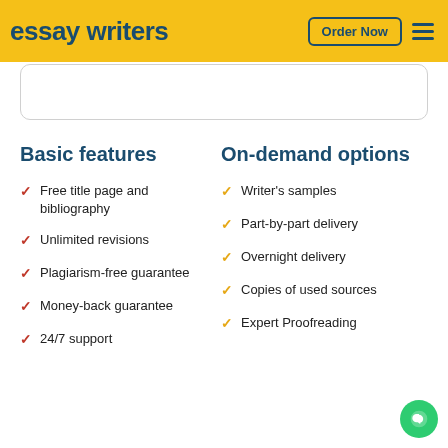essay writers | Order Now
Basic features
Free title page and bibliography
Unlimited revisions
Plagiarism-free guarantee
Money-back guarantee
24/7 support
On-demand options
Writer's samples
Part-by-part delivery
Overnight delivery
Copies of used sources
Expert Proofreading